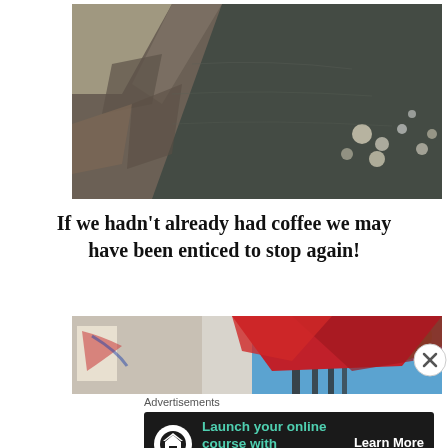[Figure (photo): Aerial or downward-angled view of a rocky stone seawall or riverbank with dark water shimmering with light reflections]
If we hadn't already had coffee we may have been enticed to stop again!
[Figure (photo): Partial view of a red umbrella or awning with metal fence railing, blue sky and green trees in the background]
Advertisements
[Figure (infographic): Advertisement banner: dark background with a white circle icon containing a house/tree symbol, teal text 'Launch your online course with WordPress', and a white 'Learn More' button with underline]